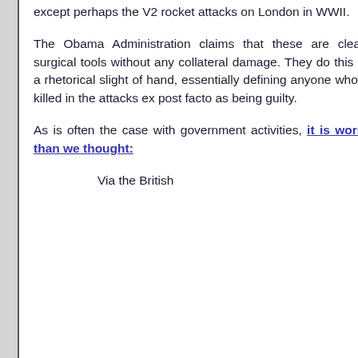except perhaps the V2 rocket attacks on London in WWII.
The Obama Administration claims that these are clean, surgical tools without any collateral damage. They do this by a rhetorical slight of hand, essentially defining anyone who is killed in the attacks ex post facto as being guilty.
As is often the case with government activities, it is worse than we thought:
Via the British